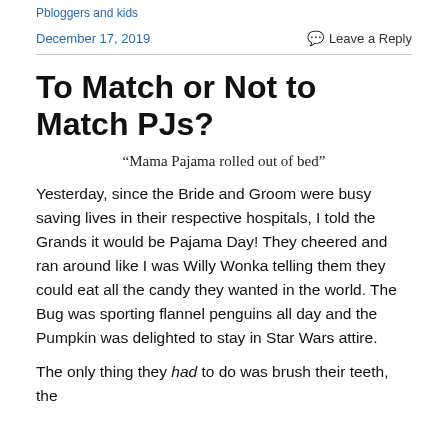Pbloggers and kids
December 17, 2019
Leave a Reply
To Match or Not to Match PJs?
“Mama Pajama rolled out of bed”
Yesterday, since the Bride and Groom were busy saving lives in their respective hospitals, I told the Grands it would be Pajama Day! They cheered and ran around like I was Willy Wonka telling them they could eat all the candy they wanted in the world. The Bug was sporting flannel penguins all day and the Pumpkin was delighted to stay in Star Wars attire.
The only thing they had to do was brush their teeth, the